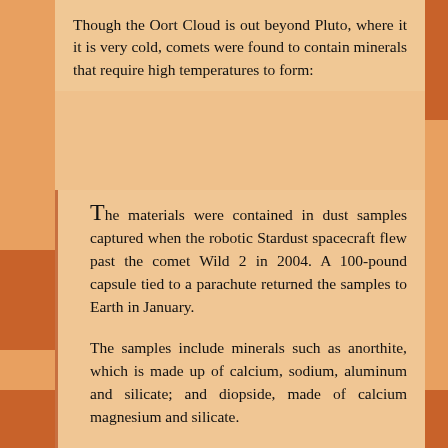Though the Oort Cloud is out beyond Pluto, where it it is very cold, comets were found to contain minerals that require high temperatures to form:
The materials were contained in dust samples captured when the robotic Stardust spacecraft flew past the comet Wild 2 in 2004. A 100-pound capsule tied to a parachute returned the samples to Earth in January.
The samples include minerals such as anorthite, which is made up of calcium, sodium, aluminum and silicate; and diopside, made of calcium magnesium and silicate.